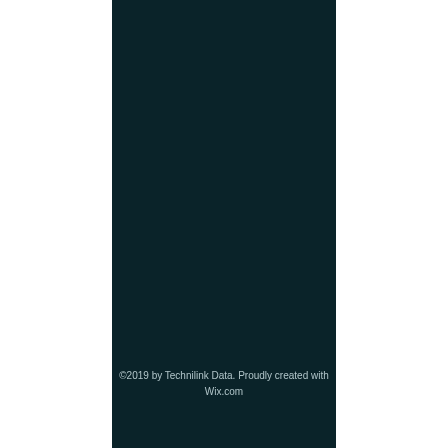©2019 by Technilink Data. Proudly created with Wix.com